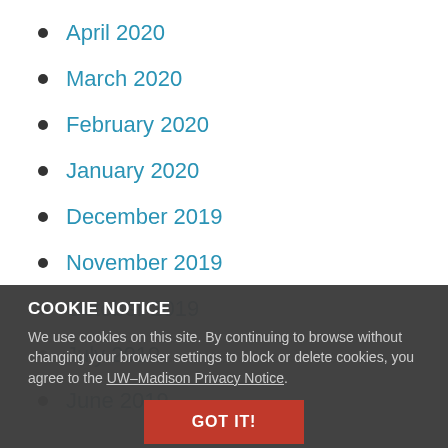April 2020
March 2020
February 2020
January 2020
December 2019
November 2019
October 2019
July 2019
June 2019
COOKIE NOTICE
We use cookies on this site. By continuing to browse without changing your browser settings to block or delete cookies, you agree to the UW–Madison Privacy Notice.
GOT IT!